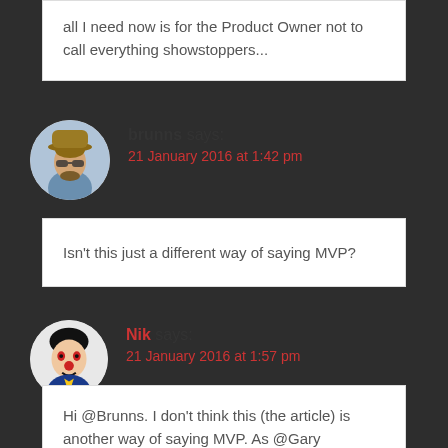all I need now is for the Product Owner not to call everything showstoppers...
brunns says: 21 January 2016 at 1:42 pm
Isn't this just a different way of saying MVP?
Nik says: 21 January 2016 at 1:57 pm
Hi @Brunns. I don't think this (the article) is another way of saying MVP. As @Gary